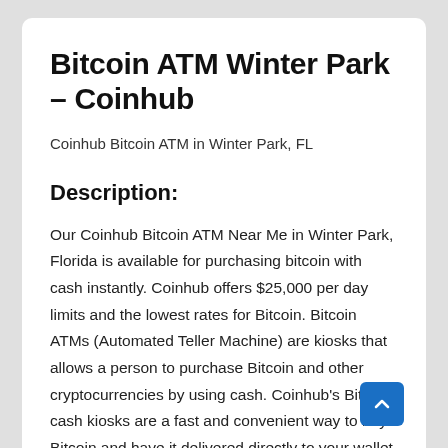Bitcoin ATM Winter Park – Coinhub
Coinhub Bitcoin ATM in Winter Park, FL
Description:
Our Coinhub Bitcoin ATM Near Me in Winter Park, Florida is available for purchasing bitcoin with cash instantly. Coinhub offers $25,000 per day limits and the lowest rates for Bitcoin. Bitcoin ATMs (Automated Teller Machine) are kiosks that allows a person to purchase Bitcoin and other cryptocurrencies by using cash. Coinhub's Bitcoin cash kiosks are a fast and convenient way to buy Bitcoin and have it delivered directly to your wallet in minutes. Coinhub Bitcoin